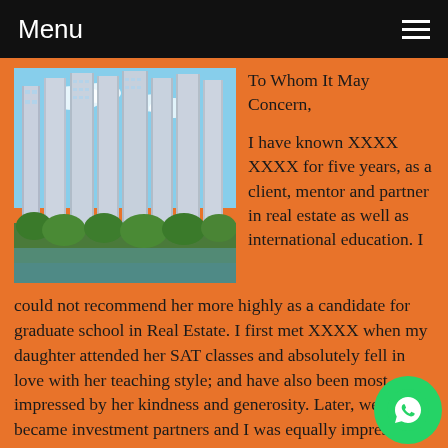Menu
[Figure (photo): Photo of tall modern high-rise residential buildings with blue sky background and green trees in foreground]
To Whom It May Concern,

I have known XXXX XXXX for five years, as a client, mentor and partner in real estate as well as international education. I could not recommend her more highly as a candidate for graduate school in Real Estate. I first met XXXX when my daughter attended her SAT classes and absolutely fell in love with her teaching style; and have also been most impressed by her kindness and generosity. Later, we became investment partners and I was equally impressed with her character and dedication in this regard. My daughter is now a junior at X University and my friendship and professional relationship XXXX has deepened as a result of my appreciation for her boost